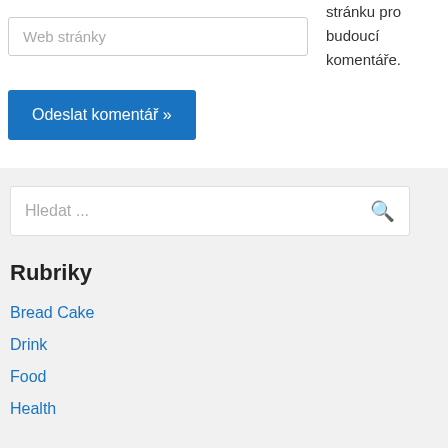Web stránky
stránku pro budoucí komentáře.
Odeslat komentář »
Hledat ...
Rubriky
Bread Cake
Drink
Food
Health